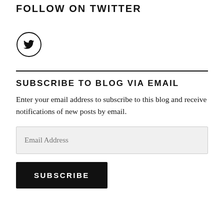FOLLOW ON TWITTER
[Figure (logo): Twitter bird icon inside a circle]
SUBSCRIBE TO BLOG VIA EMAIL
Enter your email address to subscribe to this blog and receive notifications of new posts by email.
Email Address
SUBSCRIBE